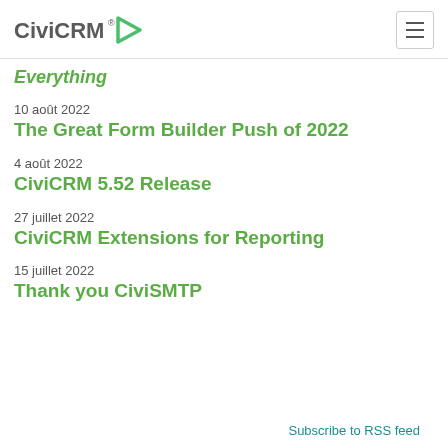CiviCRM
Everything
10 août 2022
The Great Form Builder Push of 2022
4 août 2022
CiviCRM 5.52 Release
27 juillet 2022
CiviCRM Extensions for Reporting
15 juillet 2022
Thank you CiviSMTP
Subscribe to RSS feed